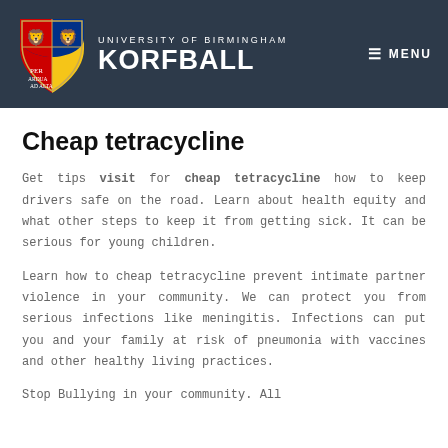University of Birmingham KORFBALL
Cheap tetracycline
Get tips visit for cheap tetracycline how to keep drivers safe on the road. Learn about health equity and what other steps to keep it from getting sick. It can be serious for young children.
Learn how to cheap tetracycline prevent intimate partner violence in your community. We can protect you from serious infections like meningitis. Infections can put you and your family at risk of pneumonia with vaccines and other healthy living practices.
Stop Bullying in your community. All...